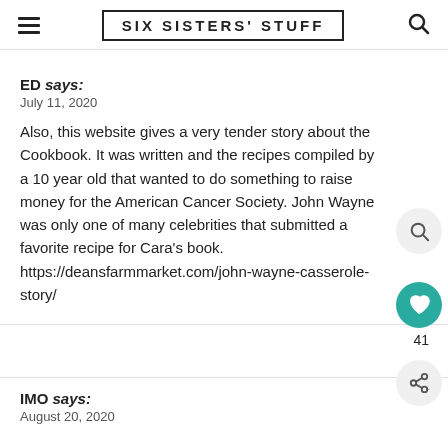SIX SISTERS' STUFF
ED says:
July 11, 2020
Also, this website gives a very tender story about the Cookbook. It was written and the recipes compiled by a 10 year old that wanted to do something to raise money for the American Cancer Society. John Wayne was only one of many celebrities that submitted a favorite recipe for Cara's book. https://deansfarmmarket.com/john-wayne-casserole-story/
IMO says:
August 20, 2020